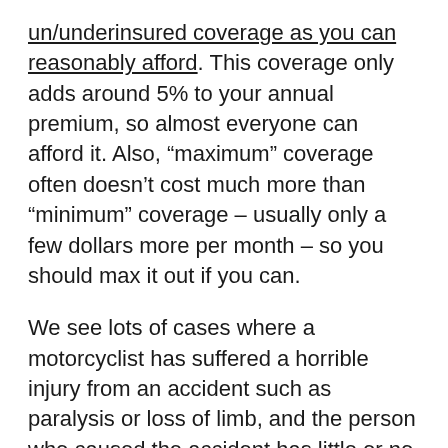un/underinsured coverage as you can reasonably afford.  This coverage only adds around 5% to your annual premium, so almost everyone can afford it.  Also, “maximum” coverage often doesn’t cost much more than “minimum” coverage – usually only a few dollars more per month – so you should max it out if you can.
We see lots of cases where a motorcyclist has suffered a horrible injury from an accident such as paralysis or loss of limb, and the person who caused the accident has little or no insurance and no assets.  Many of these riders